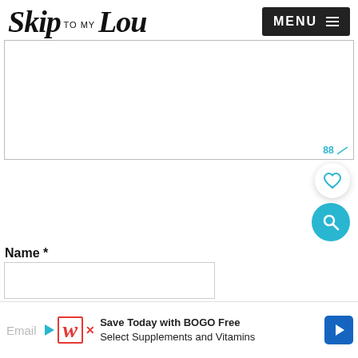Skip to my Lou | MENU
[Figure (other): Large white content area box with border, and resize icon in lower right corner showing '88' in teal]
Name *
Name input field (empty text box)
[Figure (other): Advertisement banner: Walgreens logo with play button, text 'Save Today with BOGO Free Select Supplements and Vitamins', blue arrow icon. Email label on left.]